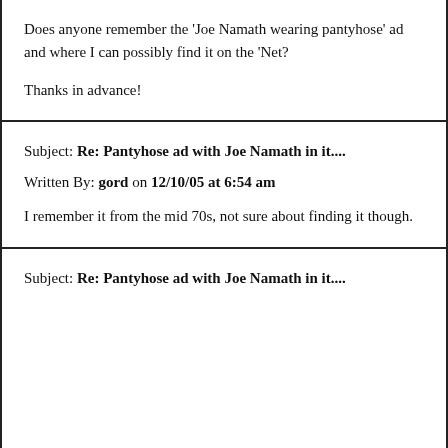Does anyone remember the 'Joe Namath wearing pantyhose' ad and where I can possibly find it on the 'Net?

Thanks in advance!
Subject: Re: Pantyhose ad with Joe Namath in it....

Written By: gord on 12/10/05 at 6:54 am

I remember it from the mid 70s, not sure about finding it though.
Subject: Re: Pantyhose ad with Joe Namath in it....